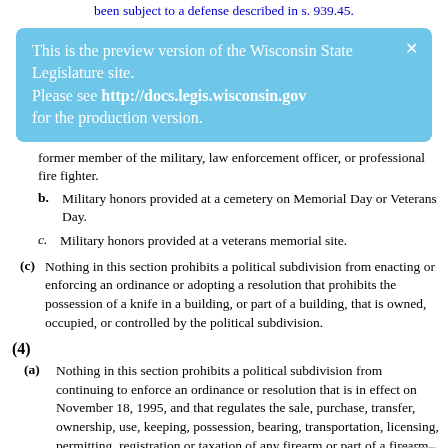been subject to a defense described in s. 939.45.
[Figure (screenshot): Light blue banner overlay reading: 'This is the preview version of the Wisconsin State Legislature site. Please see http://docs.legis.wisconsin.gov for the production version.' with an X close button in the upper right.]
former member of the military, law enforcement officer, or professional fire fighter.
b. Military honors provided at a cemetery on Memorial Day or Veterans Day.
c. Military honors provided at a veterans memorial site.
(c) Nothing in this section prohibits a political subdivision from enacting or enforcing an ordinance or adopting a resolution that prohibits the possession of a knife in a building, or part of a building, that is owned, occupied, or controlled by the political subdivision.
(4)
(a) Nothing in this section prohibits a political subdivision from continuing to enforce an ordinance or resolution that is in effect on November 18, 1995, and that regulates the sale, purchase, transfer, ownership, use, keeping, possession, bearing, transportation, licensing, permitting, registration or taxation of any firearm or part of a firearm, including ammunition and reloader components, if the ordinance or resolution is the same as or similar to, and no more stringent